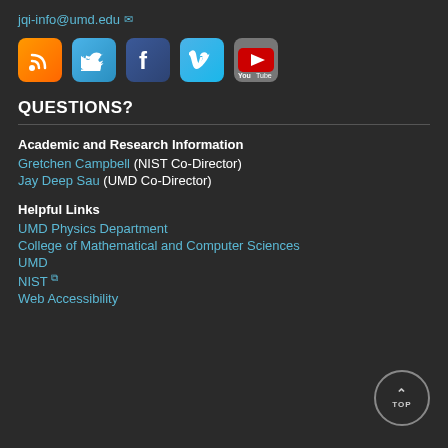jqi-info@umd.edu
[Figure (other): Row of social media icons: RSS (orange), Twitter (blue bird), Facebook (dark blue f), Vimeo (blue v), YouTube (grey/red)]
QUESTIONS?
Academic and Research Information
Gretchen Campbell (NIST Co-Director)
Jay Deep Sau (UMD Co-Director)
Helpful Links
UMD Physics Department
College of Mathematical and Computer Sciences
UMD
NIST
Web Accessibility